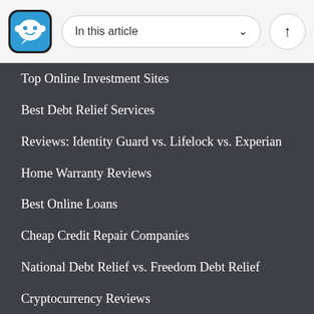In this article
Top Online Investment Sites
Best Debt Relief Services
Reviews: Identity Guard vs. Lifelock vs. Experian
Home Warranty Reviews
Best Online Loans
Cheap Credit Repair Companies
National Debt Relief vs. Freedom Debt Relief
Cryptocurrency Reviews